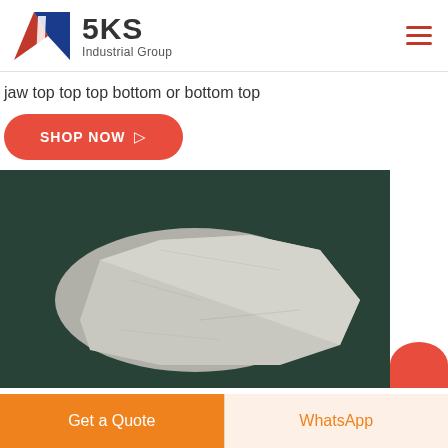[Figure (logo): SKS Industrial Group logo with red and blue K icon and company name]
jaw top top top bottom or bottom top
SHOP NOW →
[Figure (photo): A rough grey stone/rock specimen placed on dark green fabric background]
Get a Quote
WhatsApp